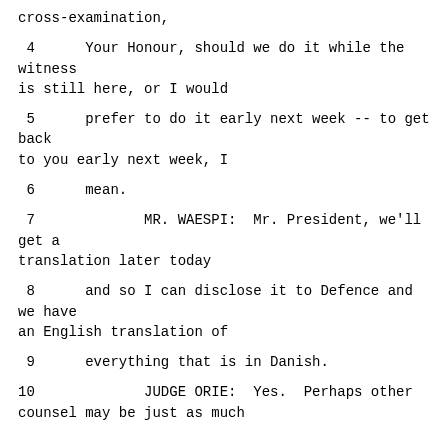cross-examination,
4      Your Honour, should we do it while the witness is still here, or I would
5      prefer to do it early next week -- to get back to you early next week, I
6      mean.
7             MR. WAESPI:  Mr. President, we'll get a translation later today
8      and so I can disclose it to Defence and we have an English translation of
9      everything that is in Danish.
10             JUDGE ORIE:  Yes.  Perhaps other counsel may be just as much